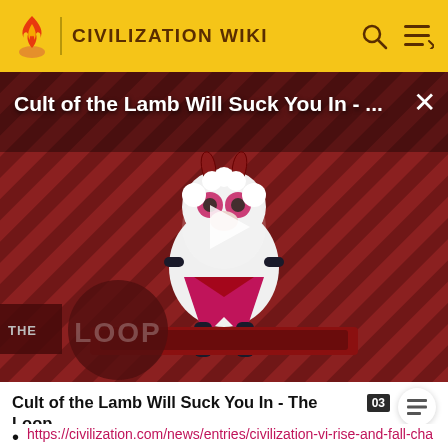CIVILIZATION WIKI
[Figure (screenshot): Video thumbnail for 'Cult of the Lamb Will Suck You In - The Loop' showing a cartoon lamb character with devil horns and red eyes, on a red striped background, with a play button overlay and 'THE LOOP' text badge at the bottom left.]
Cult of the Lamb Will Suck You In - The Loop  03
https://civilization.com/news/entries/civilization-vi-rise-and-fall-chandragupta-leads-india